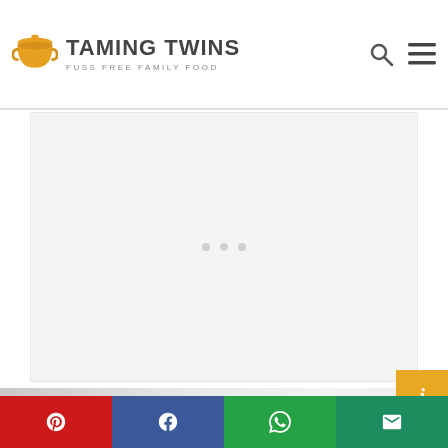TAMING TWINS — FUSS FREE FAMILY FOOD
[Figure (other): Advertisement placeholder area with three dots loading indicator]
[Figure (photo): Blurred close-up photo showing Nutella jar label text 'tella' in red on white background with blurred red object in lower right]
[Figure (other): Gold/orange square button with letter i (info icon) on right side]
Share bar with Pinterest, Facebook, WhatsApp, and Email buttons